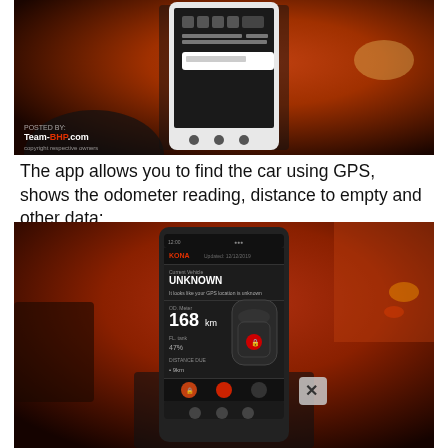[Figure (photo): Person holding a smartphone in front of an orange car. The phone screen shows a mobile app interface. Team-BHP.com watermark and 'copyright respective owners' text visible at bottom left of the photo.]
The app allows you to find the car using GPS, shows the odometer reading, distance to empty and other data:
[Figure (photo): Person holding a smartphone in front of an orange car. The phone screen shows a car companion app displaying 'UNKNOWN' location, odometer reading of 168, and a top-down view of the car with a lock icon. An X button is visible in the lower right area of the image.]